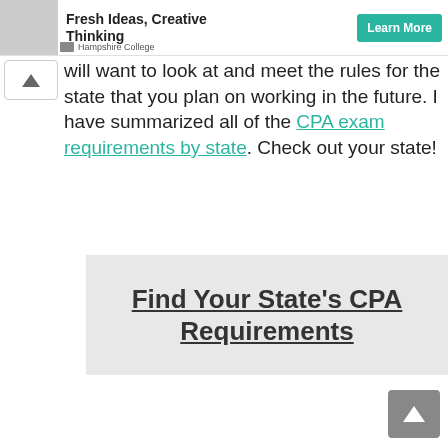[Figure (screenshot): Ad banner for Hampshire College with image, bold title text 'Fresh Ideas, Creative Thinking', teal Learn More button, and Hampshire College label]
will want to look at and meet the rules for the state that you plan on working in the future. I have summarized all of the CPA exam requirements by state. Check out your state!
Find Your State's CPA Requirements